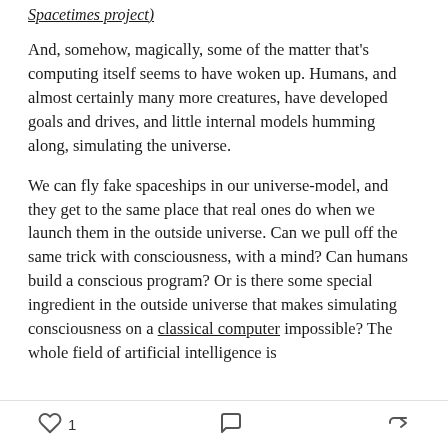Spacetimes project)
And, somehow, magically, some of the matter that's computing itself seems to have woken up. Humans, and almost certainly many more creatures, have developed goals and drives, and little internal models humming along, simulating the universe.
We can fly fake spaceships in our universe-model, and they get to the same place that real ones do when we launch them in the outside universe. Can we pull off the same trick with consciousness, with a mind? Can humans build a conscious program? Or is there some special ingredient in the outside universe that makes simulating consciousness on a classical computer impossible? The whole field of artificial intelligence is
♡ 1   💬   ➦